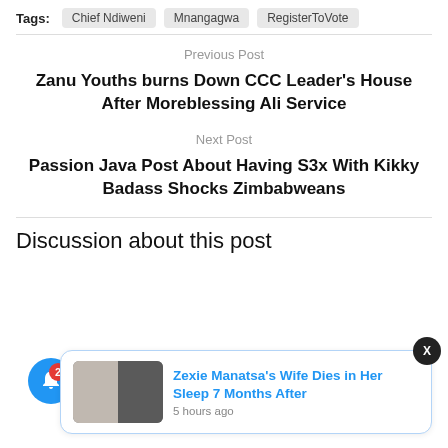Tags: Chief Ndiweni  Mnangagwa  RegisterToVote
Previous Post
Zanu Youths burns Down CCC Leader's House After Moreblessing Ali Service
Next Post
Passion Java Post About Having S3x With Kikky Badass Shocks Zimbabweans
Discussion about this post
Zexie Manatsa's Wife Dies in Her Sleep 7 Months After
5 hours ago